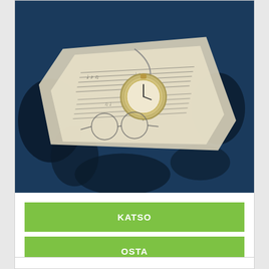[Figure (photo): Product image showing a pocket watch on sheet music with dark blue ink splashes background]
KATSO
OSTA
PRINCIOTTA LUCA -BAND - ROUGH BLUE
Lisätiedot
18,90 €
norm. 19,90 €